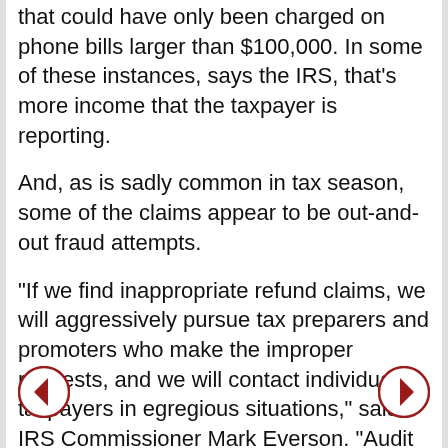that could have only been charged on phone bills larger than $100,000. In some of these instances, says the IRS, that's more income that the taxpayer is reporting.
And, as is sadly common in tax season, some of the claims appear to be out-and-out fraud attempts.
"If we find inappropriate refund claims, we will aggressively pursue tax preparers and promoters who make the improper requests, and we will contact individual taxpayers in egregious situations," said IRS Commissioner Mark Everson. "Audit letters will be sent out soon and, when